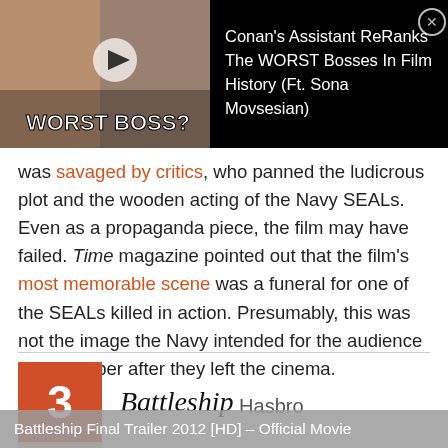[Figure (screenshot): Video thumbnail banner showing two people on the left and a man in glasses on the right with text 'WORST BOSS?' overlaid. Title reads: Conan's Assistant ReRanks The WORST Bosses In Film History (Ft. Sona Movsesian)]
was savaged by critics, who panned the ludicrous plot and the wooden acting of the Navy SEALs. Even as a propaganda piece, the film may have failed. Time magazine pointed out that the film's most memorable scene was a funeral for one of the SEALs killed in action. Presumably, this was not the image the Navy intended for the audience to remember after they left the cinema.
3 Battleship Hasbro
[Figure (screenshot): Battleship Final Trailer 2012 [HD] – Official Movie (video thumbnail)]